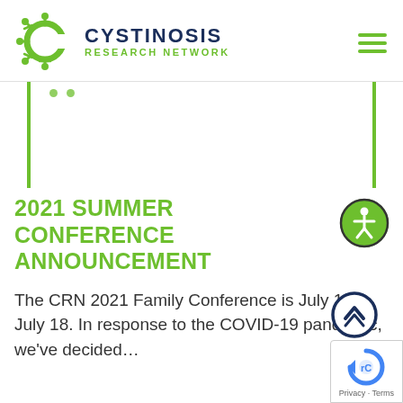[Figure (logo): Cystinosis Research Network logo with green circular figure-like icon and text 'CYSTINOSIS RESEARCH NETWORK']
2021 SUMMER CONFERENCE ANNOUNCEMENT
The CRN 2021 Family Conference is July 16 – July 18. In response to the COVID-19 pandemic, we've decided...